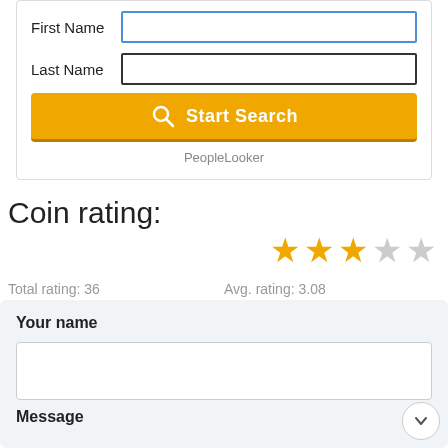[Figure (screenshot): Web form with First Name field (blue border, active), Last Name field, and an orange Start Search button with a magnifying glass icon. PeopleLooker branding below.]
Coin rating:
[Figure (other): Star rating display showing 3 filled gold stars and 2 empty stars out of 5.]
Total rating: 36
Avg. rating: 3.08
Your name
Message